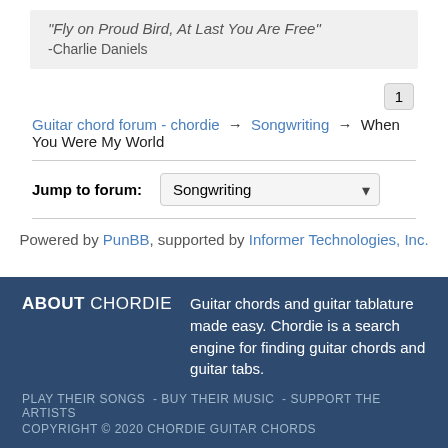"Fly on Proud Bird, At Last You Are Free" -Charlie Daniels
1
Guitar chord forum - chordie → Songwriting → When You Were My World
Jump to forum: Songwriting
Powered by PunBB, supported by Informer Technologies, Inc.
ABOUT CHORDIE Guitar chords and guitar tablature made easy. Chordie is a search engine for finding guitar chords and guitar tabs.
PLAY THEIR SONGS - BUY THEIR MUSIC - SUPPORT THE ARTISTS
COPYRIGHT © 2020 CHORDIE GUITAR CHORDS